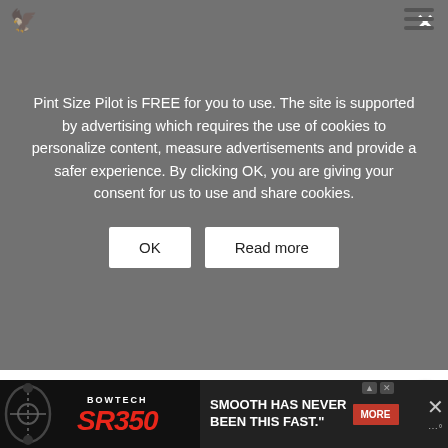Pint Size Pilot is FREE for you to use. The site is supported by advertising which requires the use of cookies to personalize content, measure advertisements and provide a safer experience. By clicking OK, you are giving your consent for us to use and share cookies.
OK
Read more
We also checked out the Quidi Vidi Village Plantation artist studios (great for locally made gifts), the brewery and had lunch for tasting dinner...
[Figure (screenshot): Bowtech SR350 advertisement banner with bow image and text 'SMOOTH HAS NEVER BEEN THIS FAST.' with MORE button]